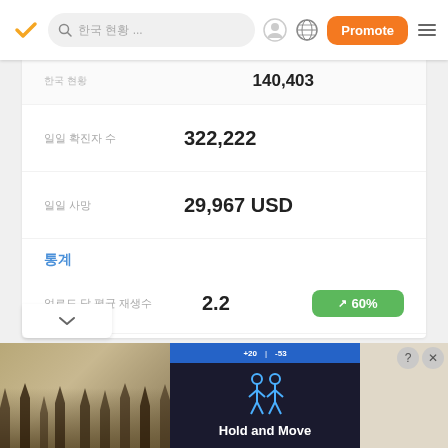App navigation bar with logo, search, profile, globe, Promote button, hamburger menu
140,403
322,222
29,967 USD
통계
2.2  ↑ 60%
01:53  ↑ 55%
57.4%  ↑ 24%
[Figure (screenshot): Mobile app advertisement banner - Hold and Move app]